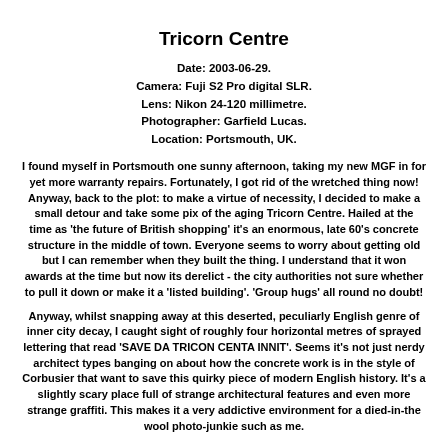Tricorn Centre
Date: 2003-06-29.
Camera: Fuji S2 Pro digital SLR.
Lens: Nikon 24-120 millimetre.
Photographer: Garfield Lucas.
Location: Portsmouth, UK.
I found myself in Portsmouth one sunny afternoon, taking my new MGF in for yet more warranty repairs. Fortunately, I got rid of the wretched thing now! Anyway, back to the plot: to make a virtue of necessity, I decided to make a small detour and take some pix of the aging Tricorn Centre. Hailed at the time as 'the future of British shopping' it's an enormous, late 60's concrete structure in the middle of town. Everyone seems to worry about getting old but I can remember when they built the thing. I understand that it won awards at the time but now its derelict - the city authorities not sure whether to pull it down or make it a 'listed building'. 'Group hugs' all round no doubt!
Anyway, whilst snapping away at this deserted, peculiarly English genre of inner city decay, I caught sight of roughly four horizontal metres of sprayed lettering that read 'SAVE DA TRICON CENTA INNIT'. Seems it's not just nerdy architect types banging on about how the concrete work is in the style of Corbusier that want to save this quirky piece of modern English history. It's a slightly scary place full of strange architectural features and even more strange graffiti. This makes it a very addictive environment for a died-in-the wool photo-junkie such as me.